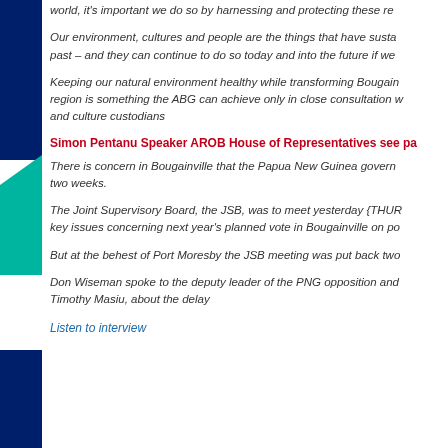world, it's important we do so by harnessing and protecting these re...
Our environment, cultures and people are the things that have susta... past – and they can continue to do so today and into the future if we...
Keeping our natural environment healthy while transforming Bougain... region is something the ABG can achieve only in close consultation w... and culture custodians
Simon Pentanu Speaker AROB House of Representatives see pa...
There is concern in Bougainville that the Papua New Guinea govern... two weeks.
The Joint Supervisory Board, the JSB, was to meet yesterday {THUR... key issues concerning next year's planned vote in Bougainville on po...
But at the behest of Port Moresby the JSB meeting was put back two...
Don Wiseman spoke to the deputy leader of the PNG opposition and... Timothy Masiu, about the delay
Listen to interview